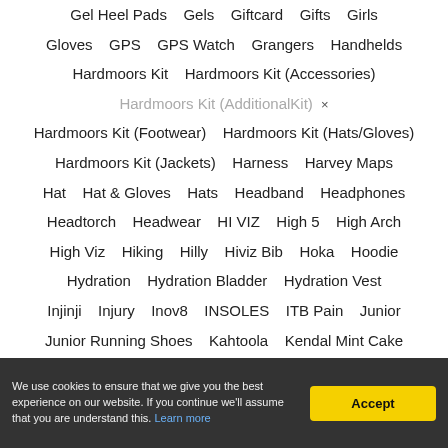Gel Heel Pads   Gels   Giftcard   Gifts   Girls
Gloves   GPS   GPS Watch   Grangers   Handhelds
Hardmoors Kit   Hardmoors Kit (Accessories)
Hardmoors Kit (AdditionalKit) ×
Hardmoors Kit (Footwear)   Hardmoors Kit (Hats/Gloves)
Hardmoors Kit (Jackets)   Harness   Harvey Maps
Hat   Hat & Gloves   Hats   Headband   Headphones
Headtorch   Headwear   HI VIZ   High 5   High Arch
High Viz   Hiking   Hilly   Hiviz Bib   Hoka   Hoodie
Hydration   Hydration Bladder   Hydration Vest
Injinji   Injury   Inov8   INSOLES   ITB Pain   Junior
Junior Running Shoes   Kahtoola   Kendal Mint Cake
We use cookies to ensure that we give you the best experience on our website. If you continue we'll assume that you are understand this. Learn more
Accept